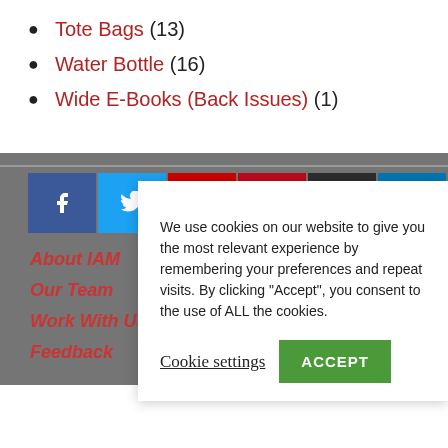Tote Bags (13)
Water Bottle (16)
Wide E-Books (Back Issues) (1)
[Figure (infographic): Social media icon buttons: Facebook, Twitter, YouTube, Pinterest, Instagram, LinkedIn]
About IAM
Our Team
Work With Us
Feedback
We use cookies on our website to give you the most relevant experience by remembering your preferences and repeat visits. By clicking “Accept”, you consent to the use of ALL the cookies.
Cookie settings  ACCEPT